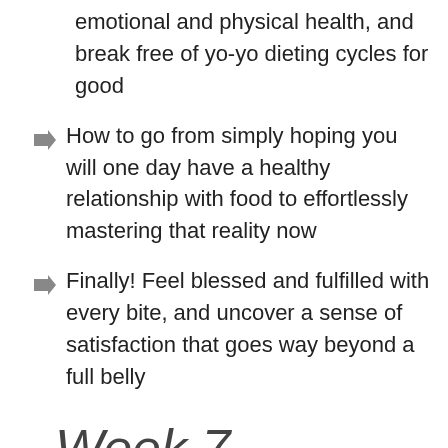emotional and physical health, and break free of yo-yo dieting cycles for good
How to go from simply hoping you will one day have a healthy relationship with food to effortlessly mastering that reality now
Finally! Feel blessed and fulfilled with every bite, and uncover a sense of satisfaction that goes way beyond a full belly
Week 7
The Grace, the Gratitude